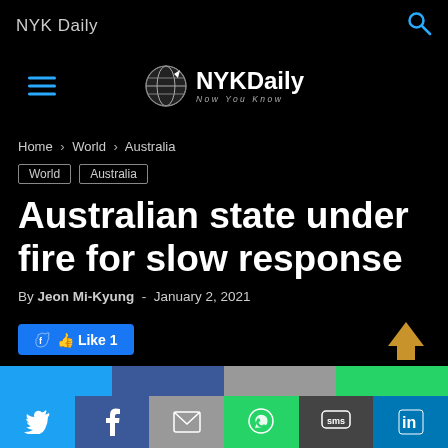NYK Daily
[Figure (logo): NYKDaily Now You Know logo with globe icon]
Home › World › Australia
World   Australia
Australian state under fire for slow response
By Jeon Mi-Kyung - January 2, 2021
Like 1
[Figure (infographic): Social share bottom bar with Twitter, Facebook, Mail, WhatsApp, SMS, LinkedIn icons]